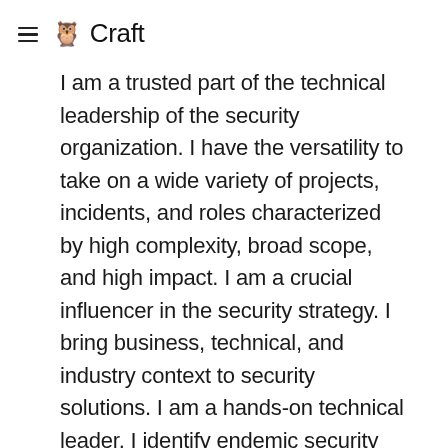🦉 Craft
I am a trusted part of the technical leadership of the security organization. I have the versatility to take on a wide variety of projects, incidents, and roles characterized by high complexity, broad scope, and high impact. I am a crucial influencer in the security strategy. I bring business, technical, and industry context to security solutions. I am a hands-on technical leader. I identify endemic security problems, define technologies, and architectures to mitigate them. I set the standard for excellence in the security organization and mitigate security risks and threats with innovative concepts. I mentor emerging leaders and consistently role model the leadership